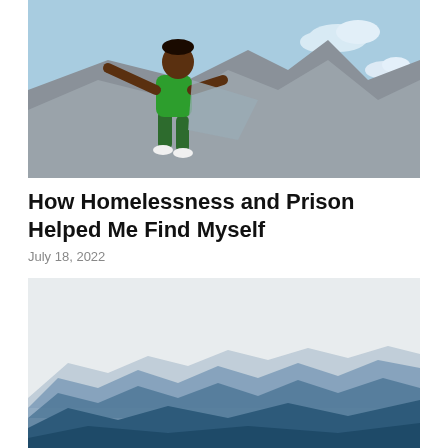[Figure (illustration): Illustration of a dark-skinned person in green clothes climbing or sitting on a gray rocky cliff, reaching forward with one arm outstretched, against a light blue sky with white clouds.]
How Homelessness and Prison Helped Me Find Myself
July 18, 2022
[Figure (photo): Landscape photograph of multiple blue mountain ranges receding into the distance under a hazy white-gray sky, with deep blue tones on the closest ridges.]